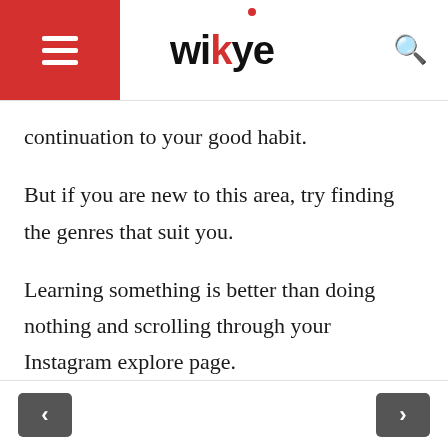wikye
continuation to your good habit.
But if you are new to this area, try finding the genres that suit you.
Learning something is better than doing nothing and scrolling through your Instagram explore page.
Reading sends you in a completely different dimension while helping you
< >